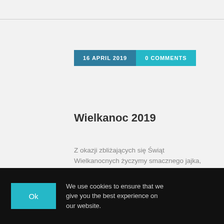16 APRIL 2019 | 0 COMMENTS
Wielkanoc 2019
Z okazji zbliżających się Świąt Wielkanocnych życzymy smacznego jajka, ciepłej i rodzinnej atmosfery oraz mnóstwa wiosennego słońca
Read more →
IRENA BIELICKA | BEZ KATEGORII @EN
We use cookies to ensure that we give you the best experience on our website.